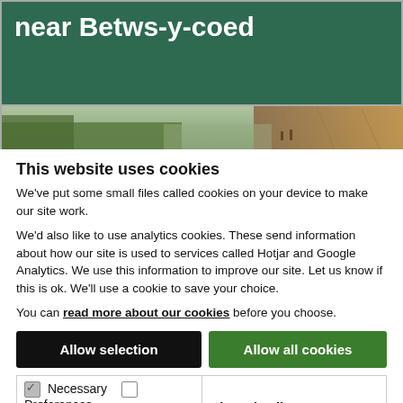near Betws-y-coed
[Figure (photo): A landscape photo strip showing trees and rocky terrain, likely near Betws-y-coed in Wales]
This website uses cookies
We've put some small files called cookies on your device to make our site work.
We'd also like to use analytics cookies. These send information about how our site is used to services called Hotjar and Google Analytics. We use this information to improve our site. Let us know if this is ok. We'll use a cookie to save your choice.
You can read more about our cookies before you choose.
Allow selection
Allow all cookies
Necessary   Preferences   Statistics   Marketing   Show details